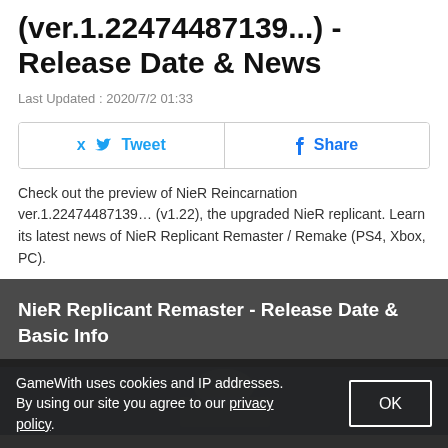(ver.1.22474487139...) - Release Date & News
Last Updated : 2020/7/2 01:33
[Figure (other): Social share buttons: Tweet (Twitter) and Share (Facebook)]
Check out the preview of NieR Reincarnation ver.1.22474487139... (v1.22), the upgraded NieR replicant. Learn its latest news of NieR Replicant Remaster / Remake (PS4, Xbox, PC).
NieR Replicant Remaster - Release Date & Basic Info
[Figure (photo): Partial screenshot of NieR Replicant Remaster game image, partially obscured by cookie consent bar]
GameWith uses cookies and IP addresses. By using our site you agree to our privacy policy.